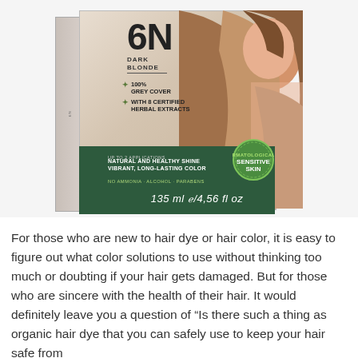[Figure (photo): Hair dye product box for shade 6N Dark Blonde. Box shows: 100% Grey Cover, With 8 Certified Herbal Extracts, Up to 2 Applications, Natural and Healthy Shine Vibrant Long-Lasting Color, No Ammonia - Alcohol - Parabens, Sensitive Skin badge, 135ml / 4.56 fl oz. Woman with dark blonde hair shown on box.]
For those who are new to hair dye or hair color, it is easy to figure out what color solutions to use without thinking too much or doubting if your hair gets damaged. But for those who are sincere with the health of their hair. It would definitely leave you a question of “Is there such a thing as organic hair dye that you can safely use to keep your hair safe from